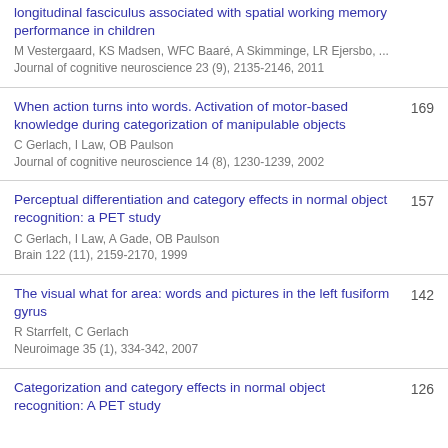longitudinal fasciculus associated with spatial working memory performance in children
M Vestergaard, KS Madsen, WFC Baaré, A Skimminge, LR Ejersbo, ...
Journal of cognitive neuroscience 23 (9), 2135-2146, 2011
When action turns into words. Activation of motor-based knowledge during categorization of manipulable objects
C Gerlach, I Law, OB Paulson
Journal of cognitive neuroscience 14 (8), 1230-1239, 2002
169
Perceptual differentiation and category effects in normal object recognition: a PET study
C Gerlach, I Law, A Gade, OB Paulson
Brain 122 (11), 2159-2170, 1999
157
The visual what for area: words and pictures in the left fusiform gyrus
R Starrfelt, C Gerlach
Neuroimage 35 (1), 334-342, 2007
142
Categorization and category effects in normal object recognition: A PET study
126